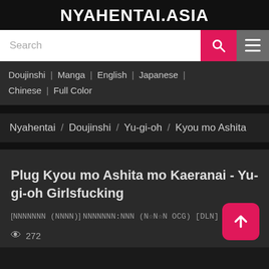NYAHENTAI.ASIA
[Figure (screenshot): Search bar with search button and menu button]
Doujinshi | Manga | English | Japanese | Chinese | Full Color
Nyahentai / Doujinshi / Yu-gi-oh / Kyou mo Ashita
Plug Kyou mo Ashita mo Kaeranai - Yu-gi-oh Girlsfucking
[NNNNNNNN (NNNN)] NNNNNNNNN (N☆N☆N OCG) [DLN]
👁 272